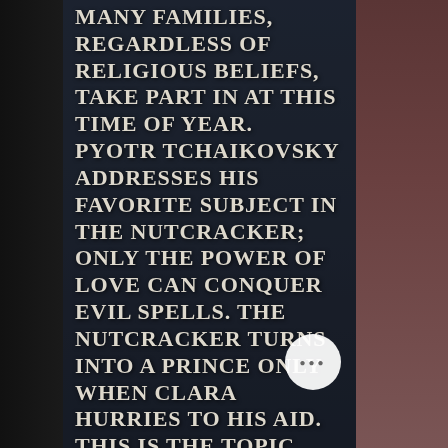[Figure (photo): A dark, atmospheric backdrop of what appears to be a theatrical or ballet scene. Left and right panels show dark background with figures in costume. The center is overlaid with text.]
many families, regardless of religious beliefs, take part in at this time of year. Pyotr Tchaikovsky addresses his favorite subject in The Nutcracker; only the power of love can conquer evil spells. The Nutcracker turns into a prince only when Clara hurries to his aid. This is the topic that determines the unique combination of a bright, festive atmosphere and a dramatic history of the main characters. "The Nutcracker" ballet